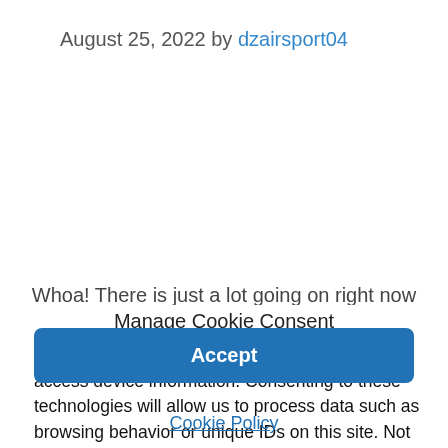August 25, 2022 by dzairsport04
Whoa! There is just a lot going on right now
Manage Cookie Consent
We use technologies like cookies to store and/or access device information. Consenting to these technologies will allow us to process data such as browsing behavior or unique IDs on this site. Not consenting or withdrawing consent, may adversely affect certain features and functions.
Accept
Cookie Policy